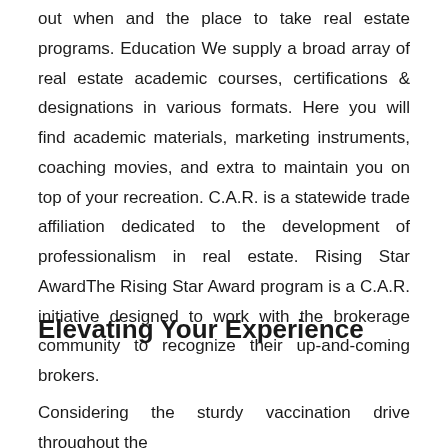out when and the place to take real estate programs. Education We supply a broad array of real estate academic courses, certifications & designations in various formats. Here you will find academic materials, marketing instruments, coaching movies, and extra to maintain you on top of your recreation. C.A.R. is a statewide trade affiliation dedicated to the development of professionalism in real estate. Rising Star AwardThe Rising Star Award program is a C.A.R. initiative designed to work with the brokerage community to recognize their up-and-coming brokers.
Elevating Your Experience
Considering the sturdy vaccination drive throughout the